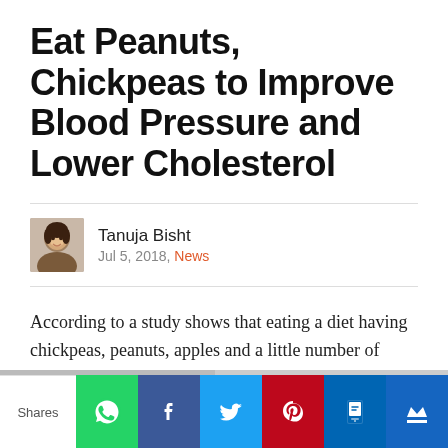Eat Peanuts, Chickpeas to Improve Blood Pressure and Lower Cholesterol
Tanuja Bisht
Jul 5, 2018, News
According to a study shows that eating a diet having chickpeas, peanuts, apples and a little number of plant sterols may improve blood pressure
[Figure (infographic): Social share bar with WhatsApp, Facebook, Twitter, Pinterest, SMS, and More buttons]